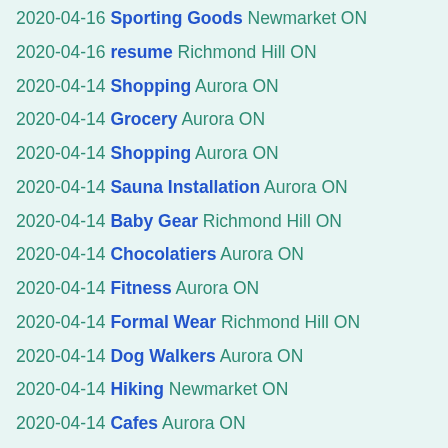2020-04-16 Sporting Goods Newmarket ON
2020-04-16 resume Richmond Hill ON
2020-04-14 Shopping Aurora ON
2020-04-14 Grocery Aurora ON
2020-04-14 Shopping Aurora ON
2020-04-14 Sauna Installation Aurora ON
2020-04-14 Baby Gear Richmond Hill ON
2020-04-14 Chocolatiers Aurora ON
2020-04-14 Fitness Aurora ON
2020-04-14 Formal Wear Richmond Hill ON
2020-04-14 Dog Walkers Aurora ON
2020-04-14 Hiking Newmarket ON
2020-04-14 Cafes Aurora ON
2020-04-14 Gutter Services Aurora ON
2020-04-14 Carpet Cleaning Aurora ON
2020-04-14 Hotels Newmarket ON
2020-04-14 Health Markets Newmarket ON
2020-04-14 Hookah Bars Aurora ON
2020-04-14 Accessories Aurora ON
2020-04-14 Imported Food Newmarket ON
2020-04-14 Canadian (New) Aurora ON
2020-04-14 Chicken Shop Aurora ON